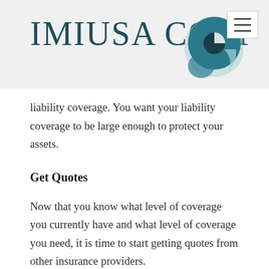IMIUSA CORP
liability coverage. You want your liability coverage to be large enough to protect your assets.
Get Quotes
Now that you know what level of coverage you currently have and what level of coverage you need, it is time to start getting quotes from other insurance providers.
There are various services online that will allow you to enter detailed information about